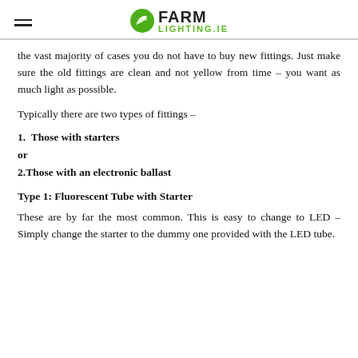FARM LIGHTING.IE
the vast majority of cases you do not have to buy new fittings. Just make sure the old fittings are clean and not yellow from time – you want as much light as possible.
Typically there are two types of fittings –
1.  Those with starters
or
2.Those with an electronic ballast
Type 1: Fluorescent Tube with Starter
These are by far the most common. This is easy to change to LED – Simply change the starter to the dummy one provided with the LED tube.